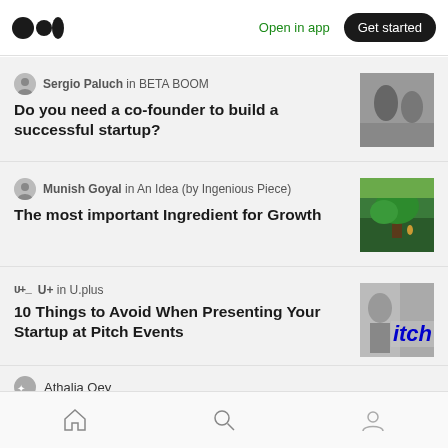Medium logo | Open in app | Get started
Sergio Paluch in BETA BOOM
Do you need a co-founder to build a successful startup?
[Figure (photo): Black and white portrait photo of two people]
Munish Goyal in An Idea (by Ingenious Piece)
The most important Ingredient for Growth
[Figure (illustration): Illustrated scene of a path through a forest with a figure]
U+ in U.plus
10 Things to Avoid When Presenting Your Startup at Pitch Events
[Figure (photo): Partially visible image with blue pitch text overlay]
Athalia Oey
Home | Search | Profile navigation icons